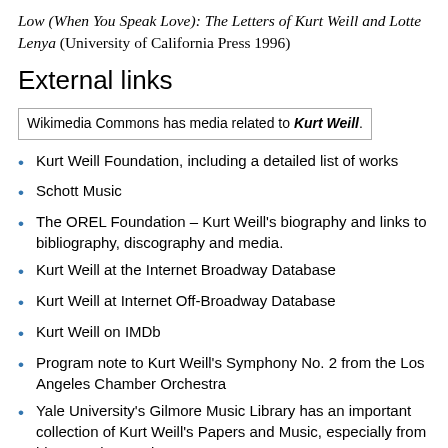Low (When You Speak Love): The Letters of Kurt Weill and Lotte Lenya (University of California Press 1996)
External links
Wikimedia Commons has media related to Kurt Weill.
Kurt Weill Foundation, including a detailed list of works
Schott Music
The OREL Foundation – Kurt Weill's biography and links to bibliography, discography and media.
Kurt Weill at the Internet Broadway Database
Kurt Weill at Internet Off-Broadway Database
Kurt Weill on IMDb
Program note to Kurt Weill's Symphony No. 2 from the Los Angeles Chamber Orchestra
Yale University's Gilmore Music Library has an important collection of Kurt Weill's Papers and Music, especially from his years in America
Finding aid to Universal Edition-Kurt Weill Archives – Moreaint and deposit at the Ruth T Watanabe Special